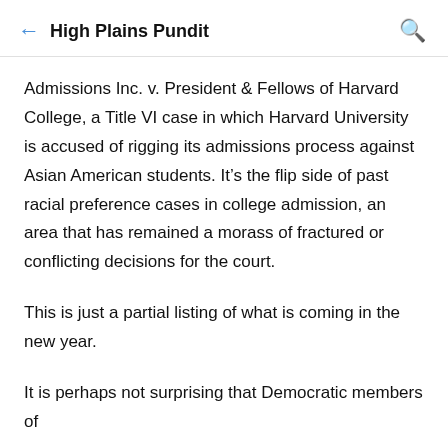High Plains Pundit
Admissions Inc. v. President & Fellows of Harvard College, a Title VI case in which Harvard University is accused of rigging its admissions process against Asian American students. It’s the flip side of past racial preference cases in college admission, an area that has remained a morass of fractured or conflicting decisions for the court.
This is just a partial listing of what is coming in the new year.
It is perhaps not surprising that Democratic members of